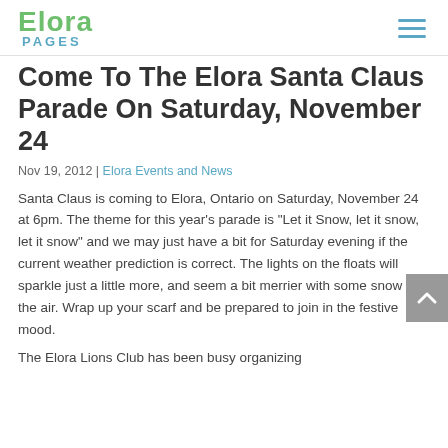Elora Pages
Come To The Elora Santa Claus Parade On Saturday, November 24
Nov 19, 2012 | Elora Events and News
Santa Claus is coming to Elora, Ontario on Saturday, November 24 at 6pm. The theme for this year’s parade is “Let it Snow, let it snow, let it snow” and we may just have a bit for Saturday evening if the current weather prediction is correct. The lights on the floats will sparkle just a little more, and seem a bit merrier with some snow in the air. Wrap up your scarf and be prepared to join in the festive mood.
The Elora Lions Club has been busy organizing...